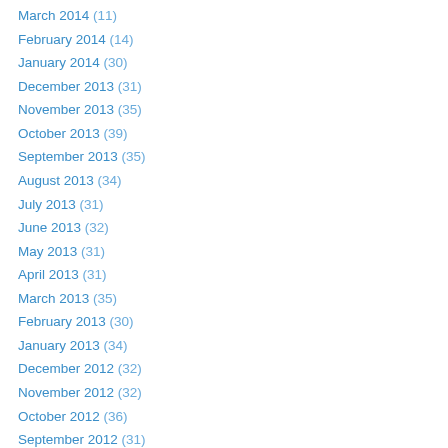March 2014 (11)
February 2014 (14)
January 2014 (30)
December 2013 (31)
November 2013 (35)
October 2013 (39)
September 2013 (35)
August 2013 (34)
July 2013 (31)
June 2013 (32)
May 2013 (31)
April 2013 (31)
March 2013 (35)
February 2013 (30)
January 2013 (34)
December 2012 (32)
November 2012 (32)
October 2012 (36)
September 2012 (31)
August 2012 (31)